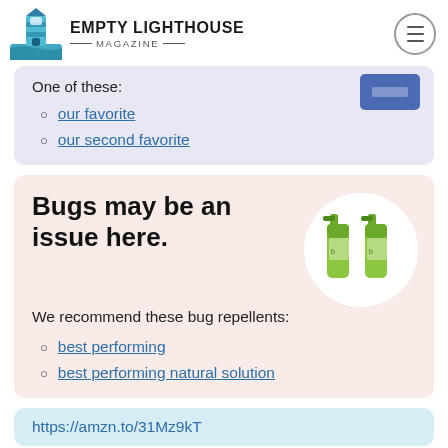EMPTY LIGHTHOUSE MAGAZINE
One of these:
our favorite
our second favorite
Bugs may be an issue here.
We recommend these bug repellents:
best performing
best performing natural solution
https://amzn.to/31Mz9kT